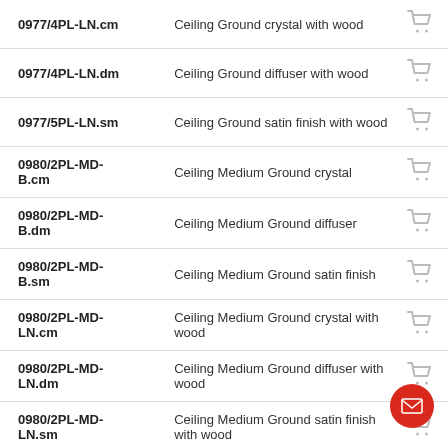| Code | Description |  |
| --- | --- | --- |
| 0977/4PL-LN.cm | Ceiling Ground crystal with wood |  |
| 0977/4PL-LN.dm | Ceiling Ground diffuser with wood |  |
| 0977/5PL-LN.sm | Ceiling Ground satin finish with wood |  |
| 0980/2PL-MD-B.cm | Ceiling Medium Ground crystal |  |
| 0980/2PL-MD-B.dm | Ceiling Medium Ground diffuser |  |
| 0980/2PL-MD-B.sm | Ceiling Medium Ground satin finish |  |
| 0980/2PL-MD-LN.cm | Ceiling Medium Ground crystal with wood |  |
| 0980/2PL-MD-LN.dm | Ceiling Medium Ground diffuser with wood |  |
| 0980/2PL-MD-LN.sm | Ceiling Medium Ground satin finish with wood |  |
| 0980/2PL-PC... | Ceiling Small Ground crystal... |  |